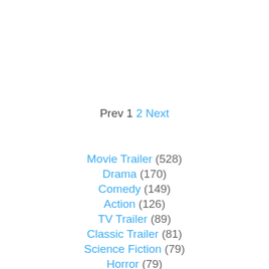Prev 1 2 Next
Movie Trailer (528)
Drama (170)
Comedy (149)
Action (126)
TV Trailer (89)
Classic Trailer (81)
Science Fiction (79)
Horror (79)